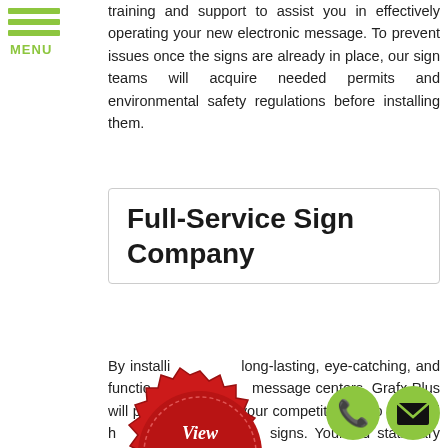MENU
training and support to assist you in effectively operating your new electronic message. To prevent issues once the signs are already in place, our sign teams will acquire needed permits and environmental safety regulations before installing them.
Full-Service Sign Company
By installing long-lasting, eye-catching, and functional message centers, Grafx Plus will put your competitors, who may still have stationary signs. Your old stationary signs may not be attracting as many new customers as it once did. All information will be tailored to your specific goals, priorities, and design.
[Figure (illustration): Red wax seal badge with text 'View Sign Gallery' and gold ribbon banner with 'CLICK HERE']
[Figure (illustration): Green circle button with phone handset icon]
[Figure (illustration): Green circle button with envelope/email icon]